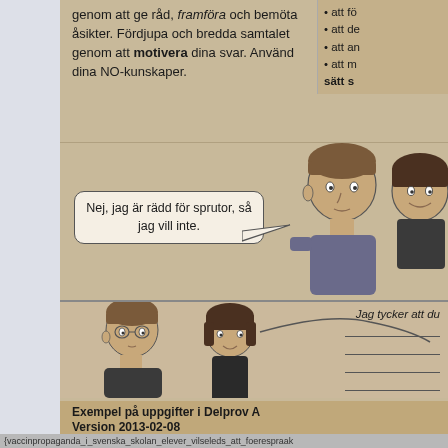genom att ge råd, framföra och bemöta åsikter. Fördjupa och bredda samtalet genom att motivera dina svar. Använd dina NO-kunskaper.
att fö
att de
att an
att me sätt s
[Figure (illustration): Illustration of two children (a boy and a girl) with a speech bubble saying 'Nej, jag är rädd för sprutor, så jag vill inte.']
[Figure (illustration): Illustration of two children (a boy and a girl) in a lower panel with a speech bubble area and writing lines. Text reads 'Jag tycker att du']
Jag tycker att du
Exempel på uppgifter i Delprov A
Version 2013-02-08
{vaccinpropaganda_i_svenska_skolan_elever_vilseleds_att_foerespraak